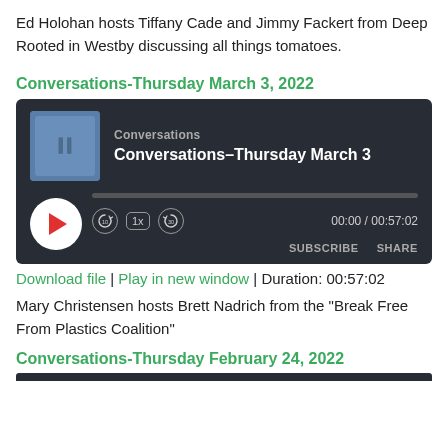Ed Holohan hosts Tiffany Cade and Jimmy Fackert from Deep Rooted in Westby discussing all things tomatoes.
Conversations-Thursday March 3, 2022
[Figure (screenshot): Audio podcast player widget with dark background showing 'Conversations' podcast, episode 'Conversations-Thursday March 3', with play button, progress bar, playback controls (rewind 10, 1x speed, forward 30), time display 00:00 / 00:57:02, and SUBSCRIBE / SHARE buttons.]
Download file | Play in new window | Duration: 00:57:02
Mary Christensen hosts Brett Nadrich from the "Break Free From Plastics Coalition"
Conversations-Thursday February 24, 2022